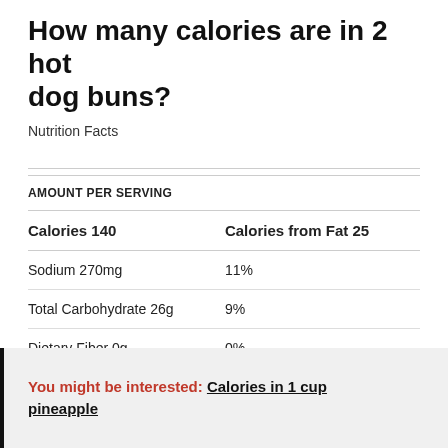How many calories are in 2 hot dog buns?
Nutrition Facts
| AMOUNT PER SERVING |  |
| --- | --- |
| Calories 140 | Calories from Fat 25 |
| Sodium 270mg | 11% |
| Total Carbohydrate 26g | 9% |
| Dietary Fiber 0g | 0% |
You might be interested: Calories in 1 cup pineapple